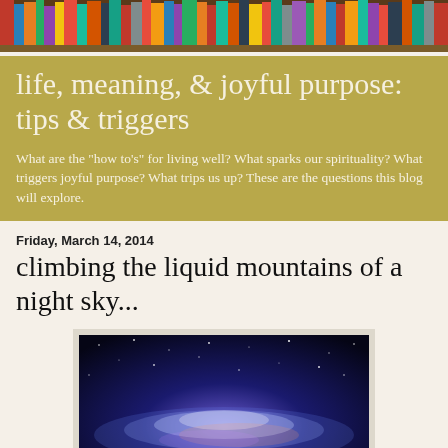[Figure (photo): A row of colorful books on a shelf, serving as the blog header image]
life, meaning, & joyful purpose: tips & triggers
What are the "how to's" for living well? What sparks our spirituality? What triggers joyful purpose? What trips us up? These are the questions this blog will explore.
Friday, March 14, 2014
climbing the liquid mountains of a night sky...
[Figure (photo): A photograph of the Milky Way galaxy stretching across a dark night sky, with blue and purple hues and bright stars]